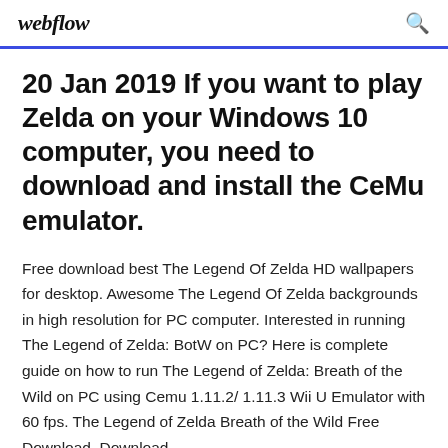webflow
20 Jan 2019 If you want to play Zelda on your Windows 10 computer, you need to download and install the CeMu emulator.
Free download best The Legend Of Zelda HD wallpapers for desktop. Awesome The Legend Of Zelda backgrounds in high resolution for PC computer. Interested in running The Legend of Zelda: BotW on PC? Here is complete guide on how to run The Legend of Zelda: Breath of the Wild on PC using Cemu 1.11.2/ 1.11.3 Wii U Emulator with 60 fps. The Legend of Zelda Breath of the Wild Free Download. Download